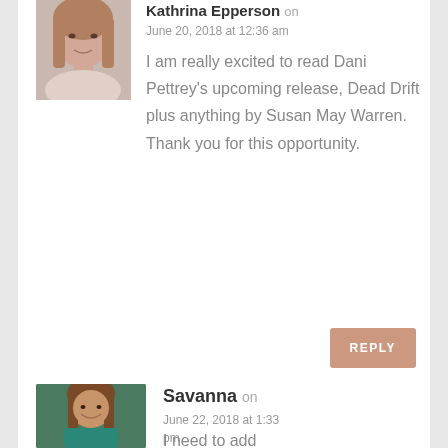[Figure (photo): Avatar photo of Kathrina Epperson, a woman with straight hair]
Kathrina Epperson on
June 20, 2018 at 12:36 am
I am really excited to read Dani Pettrey's upcoming release, Dead Drift plus anything by Susan May Warren. Thank you for this opportunity.
REPLY
[Figure (photo): Avatar photo of Savanna, a young woman with long brown hair wearing a teal top]
Savanna on
June 22, 2018 at 1:33 pm
I need to add